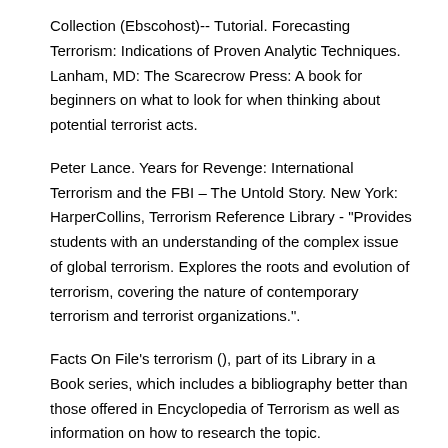Collection (Ebscohost)-- Tutorial. Forecasting Terrorism: Indications of Proven Analytic Techniques. Lanham, MD: The Scarecrow Press: A book for beginners on what to look for when thinking about potential terrorist acts.
Peter Lance. Years for Revenge: International Terrorism and the FBI – The Untold Story. New York: HarperCollins, Terrorism Reference Library - "Provides students with an understanding of the complex issue of global terrorism. Explores the roots and evolution of terrorism, covering the nature of contemporary terrorism and terrorist organizations.".
Facts On File's terrorism (), part of its Library in a Book series, which includes a bibliography better than those offered in Encyclopedia of Terrorism as well as information on how to research the topic.
Encyclopedia of Terrorism will be a useful addition to most reference collections and is. International Security & Counter Terrorism Reference Center Access full text articles, news feeds, and reports on topics that include: intelligence, security, and terrorism, including a